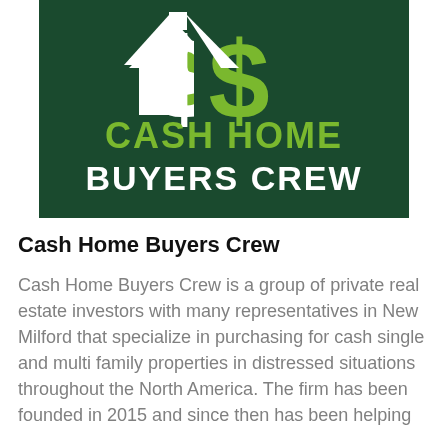[Figure (logo): Cash Home Buyers Crew logo: dark green background with a white and green dollar sign / house icon, and text 'CASH HOME BUYERS CREW' in green and white bold letters]
Cash Home Buyers Crew
Cash Home Buyers Crew is a group of private real estate investors with many representatives in New Milford that specialize in purchasing for cash single and multi family properties in distressed situations throughout the North America. The firm has been founded in 2015 and since then has been helping